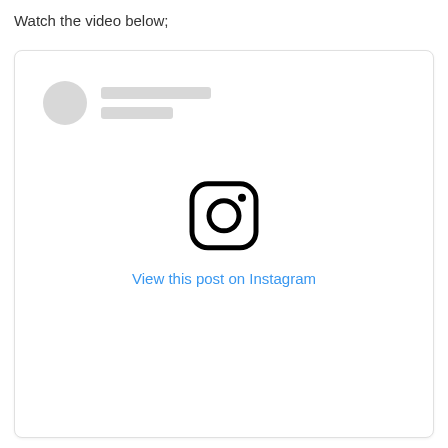Watch the video below;
[Figure (screenshot): Instagram embedded post card with a circular avatar placeholder, two gray placeholder lines for username/handle, an Instagram camera logo icon in the center, and a blue 'View this post on Instagram' link below the icon.]